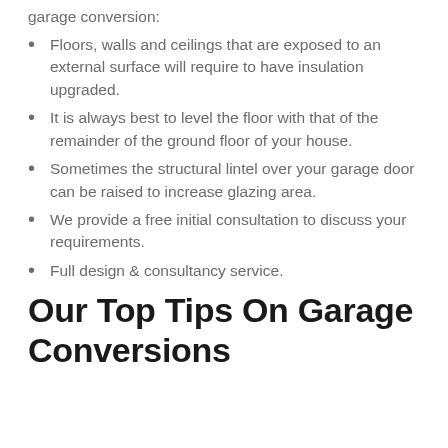garage conversion:
Floors, walls and ceilings that are exposed to an external surface will require to have insulation upgraded.
It is always best to level the floor with that of the remainder of the ground floor of your house.
Sometimes the structural lintel over your garage door can be raised to increase glazing area.
We provide a free initial consultation to discuss your requirements.
Full design & consultancy service.
Our Top Tips On Garage Conversions